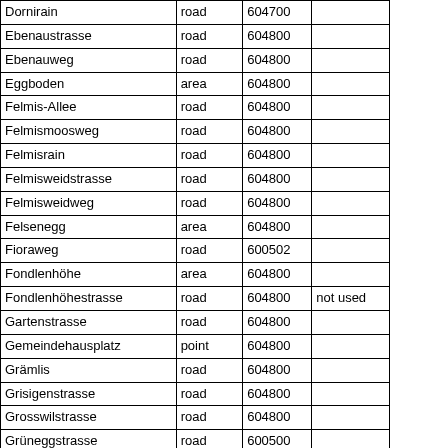| Dornirain | road | 604700 |  |
| Ebenaustrasse | road | 604800 |  |
| Ebenauweg | road | 604800 |  |
| Eggboden | area | 604800 |  |
| Felmis-Allee | road | 604800 |  |
| Felmismoosweg | road | 604800 |  |
| Felmisrain | road | 604800 |  |
| Felmisweidstrasse | road | 604800 |  |
| Felmisweidweg | road | 604800 |  |
| Felsenegg | area | 604800 |  |
| Fioraweg | road | 600502 |  |
| Fondlenhöhe | area | 604800 |  |
| Fondlenhöhestrasse | road | 604800 | not used |
| Gartenstrasse | road | 604800 |  |
| Gemeindehausplatz | point | 604800 |  |
| Grämlis | road | 604800 |  |
| Grisigenstrasse | road | 604800 |  |
| Grosswilstrasse | road | 604800 |  |
| Grüneggstrasse | road | 600500 |  |
| Gügerzi | area | 604800 |  |
| Haltenhöhe | road | 604800 |  |
| Haltenrain | road | 604800 |  |
| Halti-Hochwaldstrasse | road | 604800 | not used |
| Hans-Reinhard-Strasse | road | 604800 |  |
| Haslihorn | area | 600502 |  |
| Haslirain | road | 600502 |  |
| Hergiswilerstrasse | road | 604800 | not used |